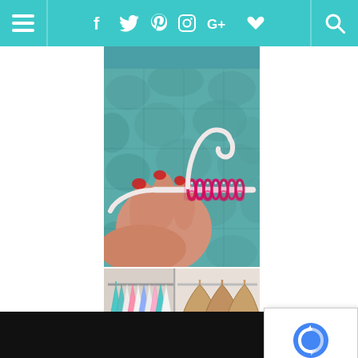Navigation bar with menu, social icons (Facebook, Twitter, Pinterest, Instagram, Google+, Heart), and search
[Figure (photo): A hand with red nail polish holding a white plastic clothes hanger threaded through a coiled red/pink bracelet/hair tie organizer, set against a teal/green quilted comforter background]
[Figure (photo): A closet rod view showing multiple colorful plastic hangers on the left side and wooden hangers on the right side, with clothing items visible]
[Figure (other): reCAPTCHA verification widget showing the reCAPTCHA logo and Privacy - Terms links]
Advertisement bar with play button icon and W degree symbol watermark